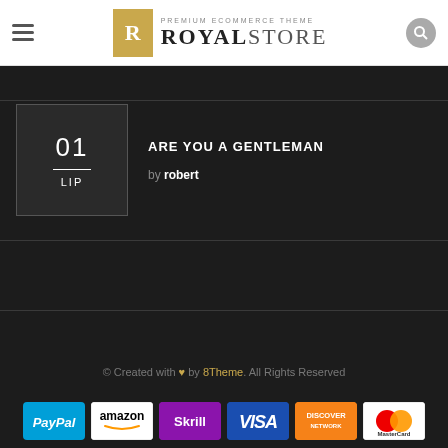[Figure (logo): RoyalStore premium ecommerce theme logo with hamburger menu and search icon in white header bar]
ARE YOU A GENTLEMAN
by robert
© Created with ♥ by 8Theme. All Rights Reserved
[Figure (other): Payment method icons: PayPal, Amazon, Skrill, VISA, Discover Network, MasterCard]